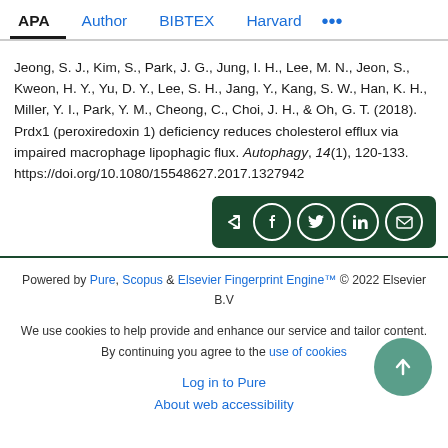APA | Author | BIBTEX | Harvard | ...
Jeong, S. J., Kim, S., Park, J. G., Jung, I. H., Lee, M. N., Jeon, S., Kweon, H. Y., Yu, D. Y., Lee, S. H., Jang, Y., Kang, S. W., Han, K. H., Miller, Y. I., Park, Y. M., Cheong, C., Choi, J. H., & Oh, G. T. (2018). Prdx1 (peroxiredoxin 1) deficiency reduces cholesterol efflux via impaired macrophage lipophagic flux. Autophagy, 14(1), 120-133. https://doi.org/10.1080/15548627.2017.1327942
Powered by Pure, Scopus & Elsevier Fingerprint Engine™ © 2022 Elsevier B.V

We use cookies to help provide and enhance our service and tailor content. By continuing you agree to the use of cookies

Log in to Pure

About web accessibility